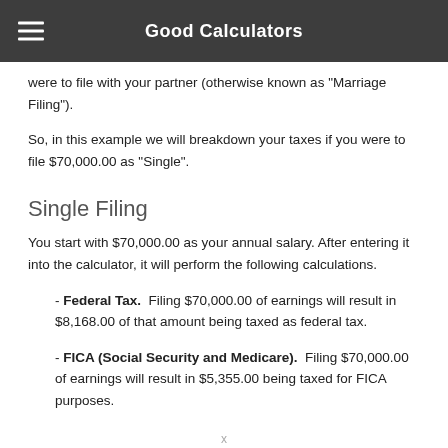Good Calculators
were to file with your partner (otherwise known as "Marriage Filing").
So, in this example we will breakdown your taxes if you were to file $70,000.00 as "Single".
Single Filing
You start with $70,000.00 as your annual salary. After entering it into the calculator, it will perform the following calculations.
- Federal Tax.  Filing $70,000.00 of earnings will result in $8,168.00 of that amount being taxed as federal tax.
- FICA (Social Security and Medicare).  Filing $70,000.00 of earnings will result in $5,355.00 being taxed for FICA purposes.
x